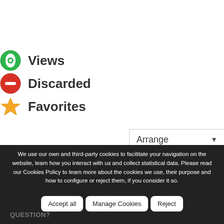Views
Discarded
Favorites
[Figure (screenshot): Arrange dropdown selector with triangle arrow]
We use our own and third-party cookies to facilitate your navigation on the website, learn how you interact with us and collect statistical data. Please read our Cookies Policy to learn more about the cookies we use, their purpose and how to configure or reject them, if you consider it so.
Accept all | Manage Cookies | Reject
QUESTION?